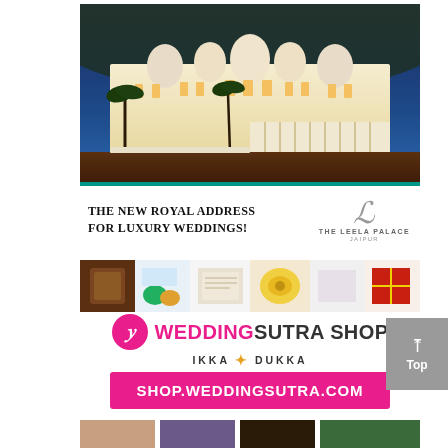[Figure (photo): Aerial/elevated night view of The Leela Palace Jaipur — a grand white palace-style hotel illuminated with golden lights against a deep blue dusk sky, with palm trees and manicured grounds in the foreground.]
The new royal address for luxury weddings!
[Figure (logo): The Leela Palace Jaipur logo — a stylized cursive 'L' above the text 'THE LEELA PALACE JAIPUR']
[Figure (photo): A horizontal strip of product photos showing various wedding favor and gift items including chocolates, decorative tins, fabric, invitation cards, floral arrangements, gift boxes, and festive items.]
[Figure (logo): WeddingSutra Shop logo — a pink circular icon with a stylized 'W' followed by bold text 'WEDDINGSUTRA SHOP' in pink and dark colors]
IKKA DUKKA
SHOP.WEDDINGSUTRA.COM
[Figure (photo): Partial bottom strip showing additional product/wedding-related imagery, cut off at the bottom of the page.]